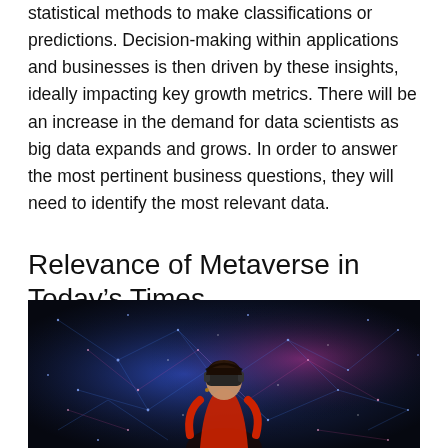statistical methods to make classifications or predictions. Decision-making within applications and businesses is then driven by these insights, ideally impacting key growth metrics. There will be an increase in the demand for data scientists as big data expands and grows. In order to answer the most pertinent business questions, they will need to identify the most relevant data.
Relevance of Metaverse in Today's Times
[Figure (photo): A person wearing a VR headset stands in front of a dark background filled with colorful blue, pink, and white particle network visualizations, suggesting a metaverse or virtual reality environment.]